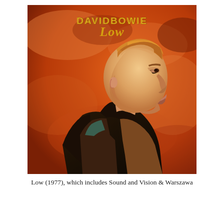[Figure (photo): Album cover of David Bowie's 'Low' (1977). A man (David Bowie) is shown in profile facing right, with swept-back reddish-blonde hair, wearing a dark high-collared jacket. The background is a warm orange-red tone suggesting clouds or mist. Text at the top reads 'DAVID BOWIE' in yellow-gold stylized lettering and 'Low' in larger gold script below it.]
Low (1977), which includes Sound and Vision & Warszawa